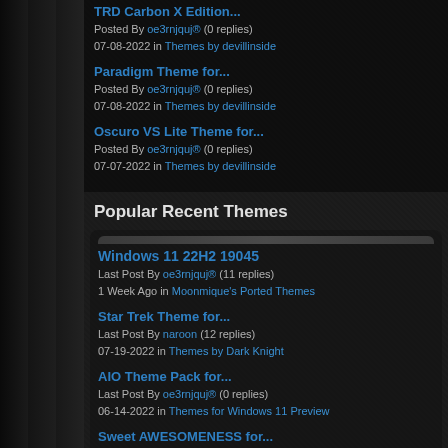TRD Carbon X Edition...
Posted By oe3rnjquj® (0 replies)
07-08-2022 in Themes by devillinside
Paradigm Theme for...
Posted By oe3rnjquj® (0 replies)
07-08-2022 in Themes by devillinside
Oscuro VS Lite Theme for...
Posted By oe3rnjquj® (0 replies)
07-07-2022 in Themes by devillinside
Popular Recent Themes
Windows 11 22H2 19045
Last Post By oe3rnjquj® (11 replies)
1 Week Ago in Moonmique's Ported Themes
Star Trek Theme for...
Last Post By naroon (12 replies)
07-19-2022 in Themes by Dark Knight
AIO Theme Pack for...
Last Post By oe3rnjquj® (0 replies)
06-14-2022 in Themes for Windows 11 Preview
Sweet AWESOMENESS for...
Last Post By R34P3R (1 replies)
06-07-2022 in Themes for Windows 11 Preview
UI-X2 Theme for Windows...
Last Post By J4M3SX019 (8 replies)
07-06-2022 in Themes by devillinside